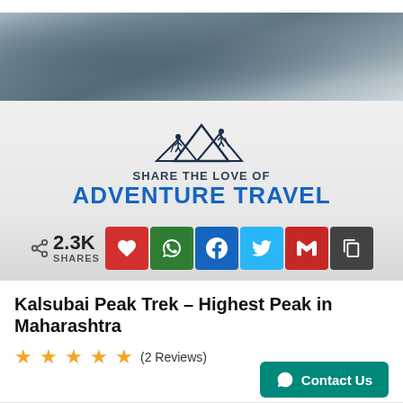[Figure (photo): Aerial mountain landscape in grayscale, showing snowy peaks and rocky terrain]
[Figure (logo): Adventure travel logo showing two hikers on mountain peaks with text SHARE THE LOVE OF ADVENTURE TRAVEL]
2.3K SHARES with social share buttons: heart, WhatsApp, Facebook, Twitter, Gmail, copy
Kalsubai Peak Trek – Highest Peak in Maharashtra
★★★★★ (2 Reviews)
Contact Us